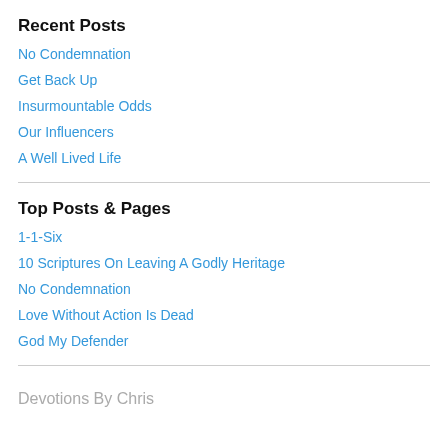Recent Posts
No Condemnation
Get Back Up
Insurmountable Odds
Our Influencers
A Well Lived Life
Top Posts & Pages
1-1-Six
10 Scriptures On Leaving A Godly Heritage
No Condemnation
Love Without Action Is Dead
God My Defender
Devotions By Chris